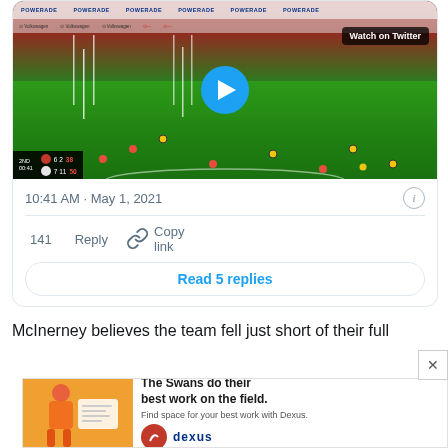[Figure (screenshot): Twitter embedded video player showing an AFL football match with stadium crowd in red, a green playing field, goal posts visible, POWERADE advertising banners, Volkswagen and other sponsor logos visible. Score overlay shows 2ND QTR 00:41, scores 6-2-38 and 7-11-50. Play button in center. 'Watch on Twitter' badge top right.]
10:41 AM · May 1, 2021
141   Reply   Copy link
Read 5 replies
McInerney believes the team fell just short of their full
[Figure (screenshot): Advertisement banner: 'The Swans do their best work on the field. Find space for your best work with Dexus.' Shows Sydney Swans logo and Dexus branding. Image of person in orange/GWS Giants kit on left.]